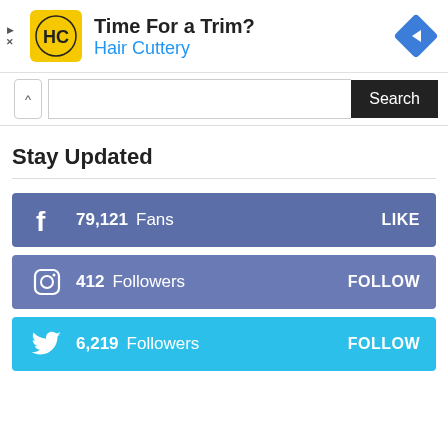[Figure (infographic): Hair Cuttery advertisement banner with yellow logo, 'Time For a Trim?' headline, 'Hair Cuttery' subtitle in blue, and a blue diamond navigation icon on the right.]
[Figure (screenshot): Search bar with a chevron/collapse button on the left and a dark Search button on the right.]
Stay Updated
[Figure (infographic): Facebook social bar: blue-purple background, f icon, '79,121 Fans', 'LIKE' button on right.]
[Figure (infographic): Instagram social bar: blue-purple background, Instagram icon, '412 Followers', 'FOLLOW' button on right.]
[Figure (infographic): Twitter social bar: sky blue background, Twitter bird icon, '6,219 Followers', 'FOLLOW' button on right.]